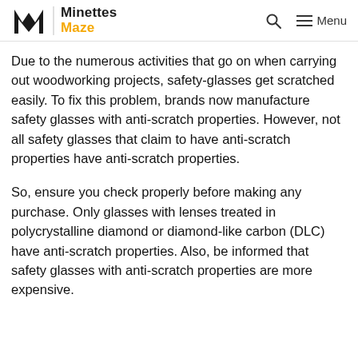Minettes Maze
Due to the numerous activities that go on when carrying out woodworking projects, safety-glasses get scratched easily. To fix this problem, brands now manufacture safety glasses with anti-scratch properties. However, not all safety glasses that claim to have anti-scratch properties have anti-scratch properties.
So, ensure you check properly before making any purchase. Only glasses with lenses treated in polycrystalline diamond or diamond-like carbon (DLC) have anti-scratch properties. Also, be informed that safety glasses with anti-scratch properties are more expensive.